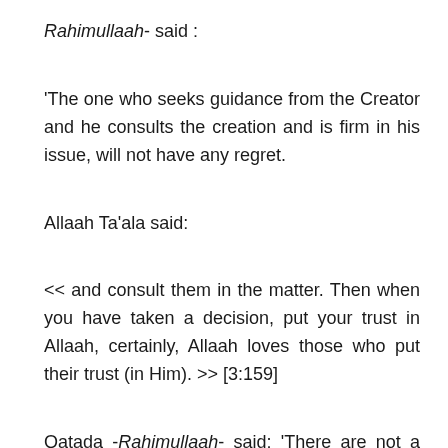Rahimullaah- said :
'The one who seeks guidance from the Creator and he consults the creation and is firm in his issue, will not have any regret.
Allaah Ta'ala said:
<< and consult them in the matter. Then when you have taken a decision, put your trust in Allaah, certainly, Allaah loves those who put their trust (in Him). >> [3:159]
Qatada -Rahimullaah- said: 'There are not a people who consult over an issue desiring the Face of Allaah, except that they are guided to what is best.'